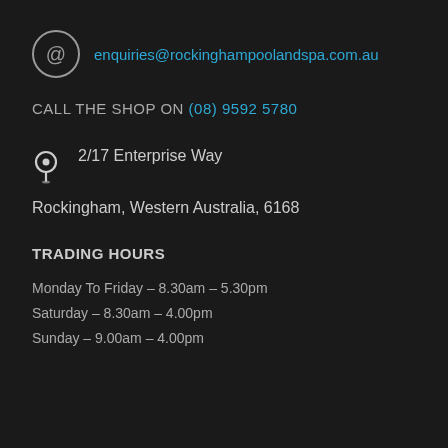enquiries@rockinghampoolandspa.com.au
CALL THE SHOP ON (08) 9592 5780
2/17 Enterprise Way
Rockingham, Western Australia, 6168
TRADING HOURS
Monday To Friday – 8.30am – 5.30pm
Saturday – 8.30am – 4.00pm
Sunday – 9.00am – 4.00pm